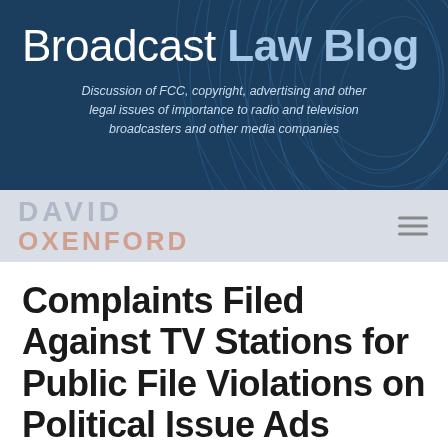[Figure (illustration): Broadcast Law Blog website header banner with dark blue background and decorative circular wave/arc patterns in lighter blue. Contains blog title and subtitle text.]
Broadcast Law Blog
Discussion of FCC, copyright, advertising and other legal issues of importance to radio and television broadcasters and other media companies
DAVID OXENFORD
Complaints Filed Against TV Stations for Public File Violations on Political Issue Ads